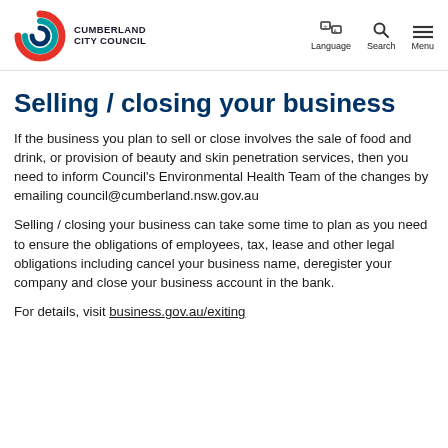Cumberland City Council — Language | Search | Menu
Selling / closing your business
If the business you plan to sell or close involves the sale of food and drink, or provision of beauty and skin penetration services, then you need to inform Council's Environmental Health Team of the changes by emailing council@cumberland.nsw.gov.au
Selling / closing your business can take some time to plan as you need to ensure the obligations of employees, tax, lease and other legal obligations including cancel your business name, deregister your company and close your business account in the bank.
For details, visit business.gov.au/exiting